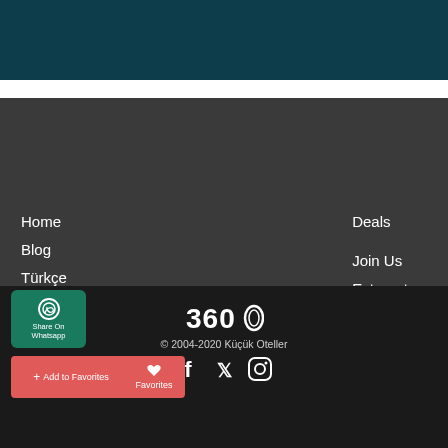[Figure (photo): Dark teal/navy blue background image, partial view at top of page]
Home
Blog
Türkçe
Contact Us
Deals
Join Us
Extranet Login
[Figure (logo): 360 logo in white, stylized text with circular element]
© 2004-2020 Küçük Oteller
[Figure (infographic): Social media icons: Facebook, Twitter, Instagram]
Share On Whatsapp
+ Add to Favorites
Favorites